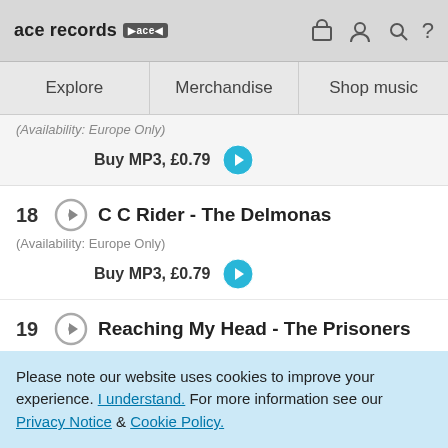ace records [logo] [cart] [user] [search] [?]
Explore | Merchandise | Shop music
(Availability: Europe Only)
Buy MP3, £0.79
18  C C Rider - The Delmonas
(Availability: Europe Only)
Buy MP3, £0.79
19  Reaching My Head - The Prisoners
(Availability: Europe Only)
Please note our website uses cookies to improve your experience. I understand. For more information see our Privacy Notice & Cookie Policy.